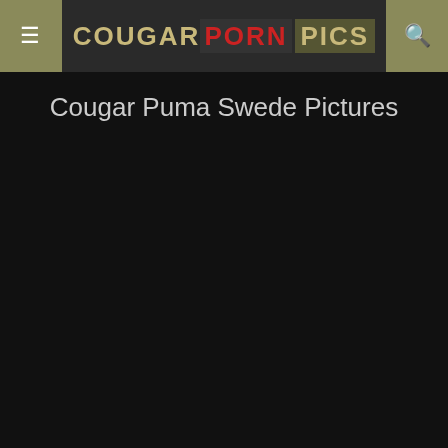COUGAR PORN PICS
Cougar Puma Swede Pictures